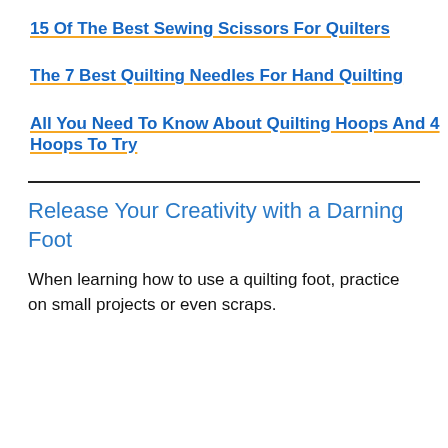15 Of The Best Sewing Scissors For Quilters
The 7 Best Quilting Needles For Hand Quilting
All You Need To Know About Quilting Hoops And 4 Hoops To Try
Release Your Creativity with a Darning Foot
When learning how to use a quilting foot, practice on small projects or even scraps.